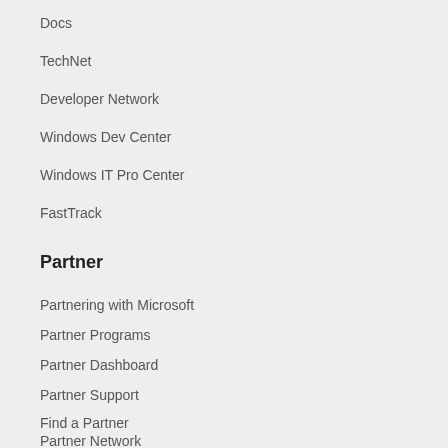Docs
TechNet
Developer Network
Windows Dev Center
Windows IT Pro Center
FastTrack
Partner
Partnering with Microsoft
Partner Programs
Partner Dashboard
Partner Support
Find a Partner
Partner Network